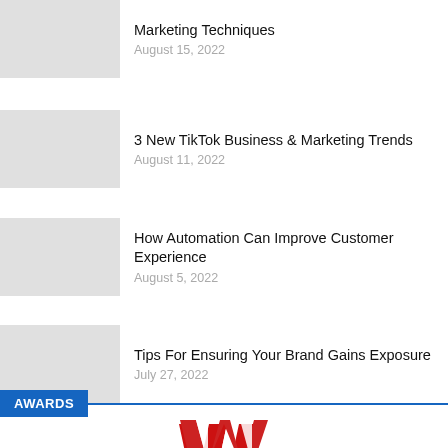Marketing Techniques
August 15, 2022
3 New TikTok Business & Marketing Trends
August 11, 2022
How Automation Can Improve Customer Experience
August 5, 2022
Tips For Ensuring Your Brand Gains Exposure
July 27, 2022
AWARDS
[Figure (logo): Red and white W-shaped logo mark]